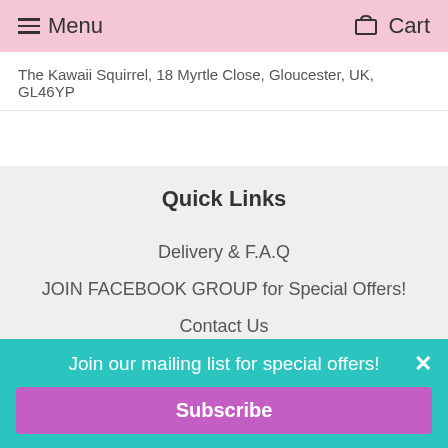Menu   Cart
The Kawaii Squirrel, 18 Myrtle Close, Gloucester, UK, GL46YP
Quick Links
Delivery & F.A.Q
JOIN FACEBOOK GROUP for Special Offers!
Contact Us
About us
BLOG
Join our mailing list for special offers!
Subscribe